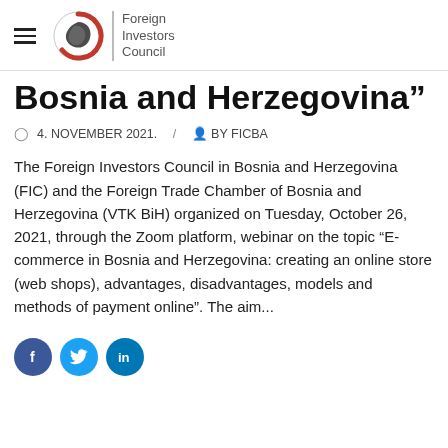[Figure (logo): Foreign Investors Council logo with circular red/black graphic and text 'Foreign Investors Council']
Bosnia and Herzegovina”
4. NOVEMBER 2021.  /  BY FICBA
The Foreign Investors Council in Bosnia and Herzegovina (FIC) and the Foreign Trade Chamber of Bosnia and Herzegovina (VTK BiH) organized on Tuesday, October 26, 2021, through the Zoom platform, webinar on the topic “E-commerce in Bosnia and Herzegovina: creating an online store (web shops), advantages, disadvantages, models and methods of payment online”. The aim...
[Figure (illustration): Social media share buttons: Facebook (blue circle with f), Twitter (blue circle with bird), LinkedIn (blue circle with in)]